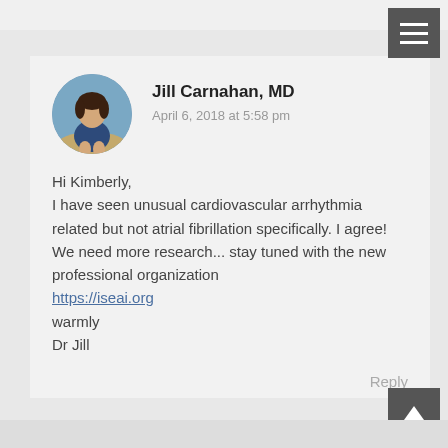Jill Carnahan, MD
April 6, 2018 at 5:58 pm
Hi Kimberly,
I have seen unusual cardiovascular arrhythmia related but not atrial fibrillation specifically. I agree! We need more research... stay tuned with the new professional organization https://iseai.org
warmly
Dr Jill
Reply